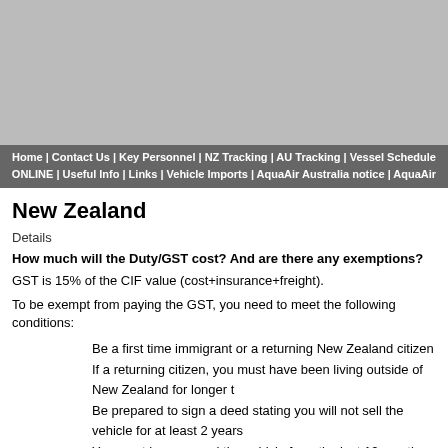[Figure (other): Navigation banner image with gray background, containing a navigation bar with links: Home | Contact Us | Key Personnel | NZ Tracking | AU Tracking | Vessel Schedule | ONLINE | Useful Info | Links | Vehicle Imports | AquaAir Australia notice | AquaAir]
New Zealand
Details
How much will the Duty/GST cost? And are there any exemptions?
GST is 15% of the CIF value (cost+insurance+freight).
To be exempt from paying the GST, you need to meet the following conditions:
Be a first time immigrant or a returning New Zealand citizen
If a returning citizen, you must have been living outside of New Zealand for longer t...
Be prepared to sign a deed stating you will not sell the vehicle for at least 2 years
You must have owned the vehicle for a the last 12 months and be able to provide...